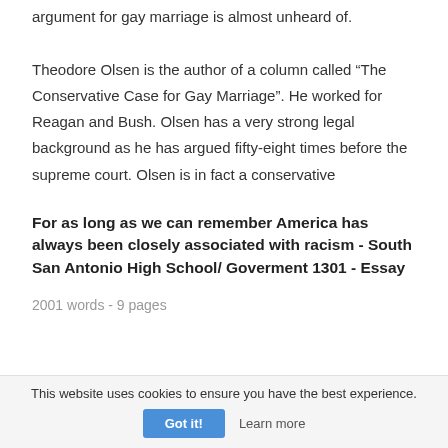argument for gay marriage is almost unheard of. Theodore Olsen is the author of a column called “The Conservative Case for Gay Marriage”. He worked for Reagan and Bush. Olsen has a very strong legal background as he has argued fifty-eight times before the supreme court. Olsen is in fact a conservative
For as long as we can remember America has always been closely associated with racism - South San Antonio High School/ Goverment 1301 - Essay
2001 words - 9 pages
This website uses cookies to ensure you have the best experience.